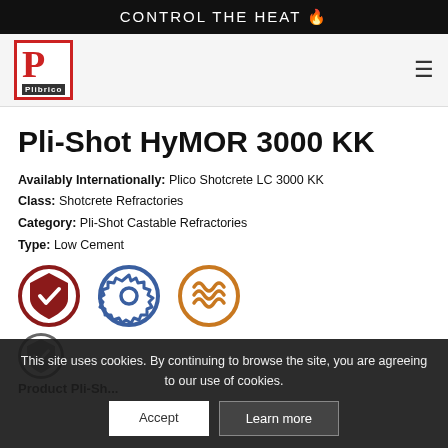CONTROL THE HEAT 🔥
[Figure (logo): Plibrico logo — red P in red-bordered box with 'Plibrico' in dark banner below]
Pli-Shot HyMOR 3000 KK
Availably Internationally: Plico Shotcrete LC 3000 KK
Class: Shotcrete Refractories
Category: Pli-Shot Castable Refractories
Type: Low Cement
[Figure (illustration): Three circular icons: red shield with checkmark, blue gear/settings, orange heat waves]
This site uses cookies. By continuing to browse the site, you are agreeing to our use of cookies.
Accept   Learn more